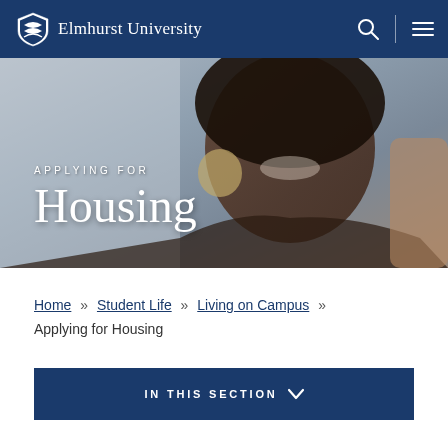Elmhurst University
[Figure (photo): Hero banner photo of a smiling young woman with natural hair and large hoop earrings, with overlaid text 'APPLYING FOR Housing' in white]
APPLYING FOR Housing
Home » Student Life » Living on Campus » Applying for Housing
IN THIS SECTION ∨